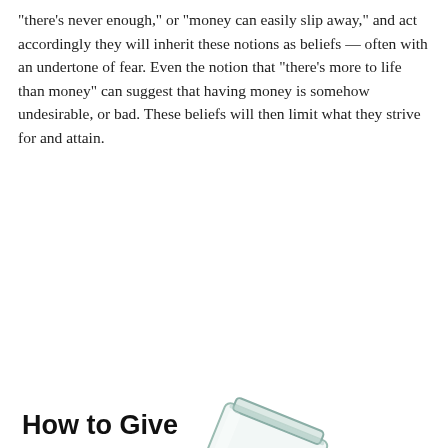"there's never enough," or "money can easily slip away," and act accordingly they will inherit these notions as beliefs — often with an undertone of fear. Even the notion that "there's more to life than money" can suggest that having money is somehow undesirable, or bad. These beliefs will then limit what they strive for and attain.
[Figure (illustration): A glass mason jar tipped on its side with coins (pennies, nickels, dimes, quarters) spilling out onto a white surface, with bold text overlay reading 'How to Give Kids the Right Money Mindset' and small website attribution 'longevityforsabella.com']